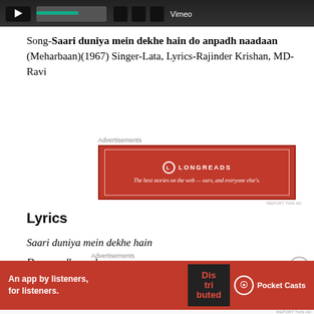[Figure (screenshot): Video player bar at top of page]
Song-Saari duniya mein dekhe hain do anpadh naadaan (Meharbaan)(1967) Singer-Lata, Lyrics-Rajinder Krishan, MD-Ravi
[Figure (other): Longreads advertisement: The best stories on the web — ours, and everyone else's.]
Lyrics
Saari duniya mein dekhe hain
Do anpadh naadaan
Ik tum dasin bhagwaan
[Figure (other): Pocket Casts advertisement: An app by listeners, for listeners.]